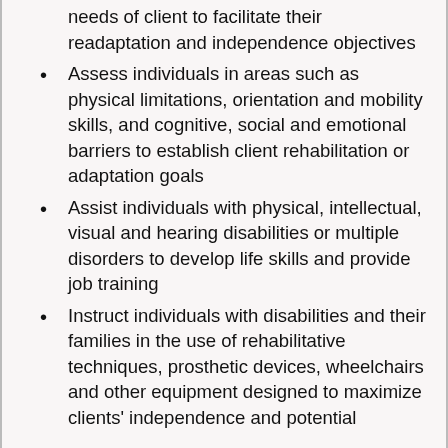needs of client to facilitate their readaptation and independence objectives
Assess individuals in areas such as physical limitations, orientation and mobility skills, and cognitive, social and emotional barriers to establish client rehabilitation or adaptation goals
Assist individuals with physical, intellectual, visual and hearing disabilities or multiple disorders to develop life skills and provide job training
Instruct individuals with disabilities and their families in the use of rehabilitative techniques, prosthetic devices, wheelchairs and other equipment designed to maximize clients' independence and potential